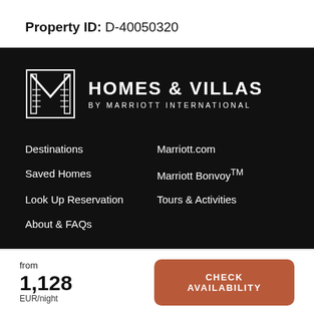Property ID: D-40050320
[Figure (logo): Homes & Villas by Marriott International logo on black background with navigation links: Destinations, Saved Homes, Look Up Reservation, About & FAQs, Marriott.com, Marriott Bonvoy TM, Tours & Activities]
from 1,128 EUR/night
CHECK AVAILABILITY